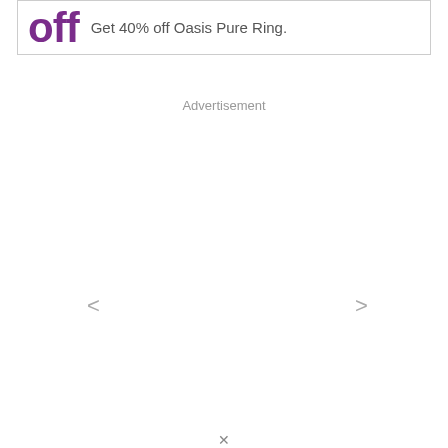[Figure (screenshot): Partial advertisement banner showing large purple 'off' text and the text 'Get 40% off Oasis Pure Ring.' in a bordered box at the top of the page.]
Advertisement
<
>
×